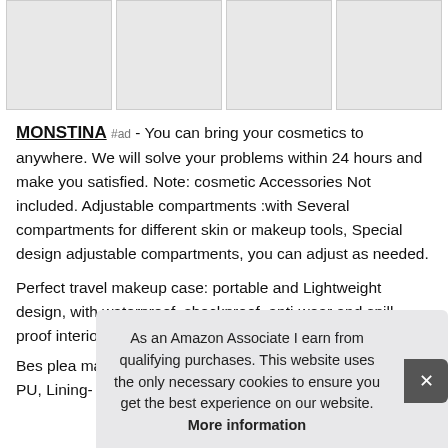[Figure (photo): Four product images of travel makeup cases/cosmetic bags arranged in a row]
MONSTINA #ad - You can bring your cosmetics to anywhere. We will solve your problems within 24 hours and make you satisfied. Note: cosmetic Accessories Not included. Adjustable compartments :with Several compartments for different skin or makeup tools, Special design adjustable compartments, you can adjust as needed.
Perfect travel makeup case: portable and Lightweight design, with waterproof, shockproof, anti-wear and spill-proof interiors.
Bes[t] plea[se] material: this makeup bag is made of high quality PU, Lining-
As an Amazon Associate I earn from qualifying purchases. This website uses the only necessary cookies to ensure you get the best experience on our website. More information